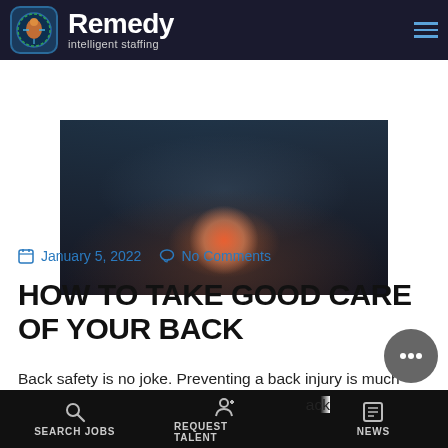[Figure (logo): Remedy intelligent staffing logo with circular head icon and hamburger menu on dark header bar]
[Figure (photo): Hero image showing a person holding their lower back, with a glowing red/orange light at the back pain area, dark background]
January 5, 2022  No Comments
HOW TO TAKE GOOD CARE OF YOUR BACK
Back safety is no joke. Preventing a back injury is much easier than repairing one. Because your back is critically important to your ability to walk...
SEARCH JOBS   REQUEST TALENT   NEWS